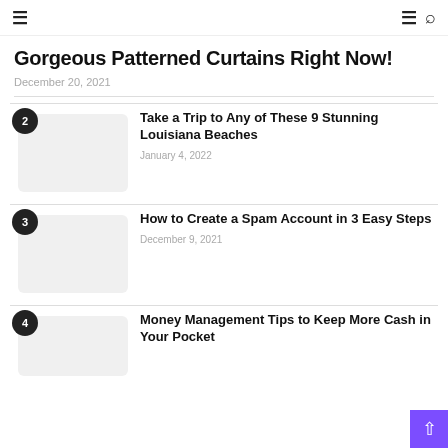≡  ≡ 🔍
Gorgeous Patterned Curtains Right Now!
December 20, 2021
2 – Take a Trip to Any of These 9 Stunning Louisiana Beaches – January 4, 2022
3 – How to Create a Spam Account in 3 Easy Steps – December 9, 2021
4 – Money Management Tips to Keep More Cash in Your Pocket